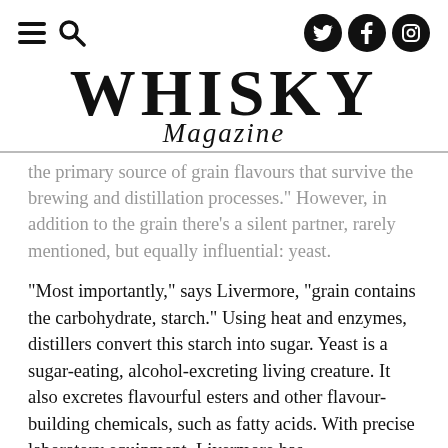Whisky Magazine — navigation header with hamburger menu, search, Twitter, Facebook, Instagram icons
WHISKY Magazine
the primary source of grain flavours that survive the brewing and distillation processes." However, in addition to the grain there's a silent partner, rarely mentioned, but equally influential: yeast.
"Most importantly," says Livermore, "grain contains the carbohydrate, starch." Using heat and enzymes, distillers convert this starch into sugar. Yeast is a sugar-eating, alcohol-excreting living creature. It also excretes flavourful esters and other flavour-building chemicals, such as fatty acids. With precise laboratory equipment, Livermore has